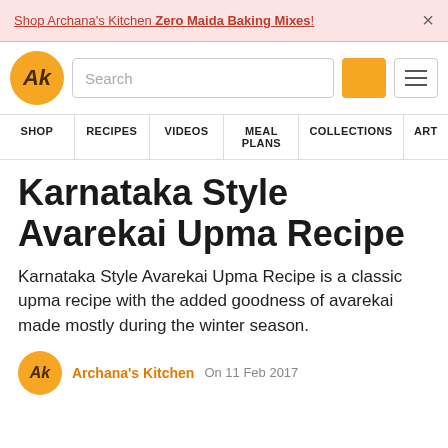Shop Archana's Kitchen Zero Maida Baking Mixes! ×
[Figure (logo): Archana's Kitchen logo - AK in italic on orange circle, with search bar, orange search button, and hamburger menu button]
SHOP  RECIPES  VIDEOS  MEAL PLANS  COLLECTIONS  ART
Karnataka Style Avarekai Upma Recipe
Karnataka Style Avarekai Upma Recipe is a classic upma recipe with the added goodness of avarekai made mostly during the winter season.
Archana's Kitchen  On 11 Feb 2017